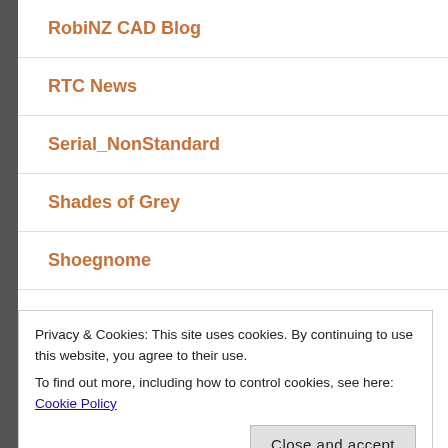RobiNZ CAD Blog
RTC News
Serial_NonStandard
Shades of Grey
Shoegnome
Simply Complex
Privacy & Cookies: This site uses cookies. By continuing to use this website, you agree to their use.
To find out more, including how to control cookies, see here: Cookie Policy
SketchUpdate